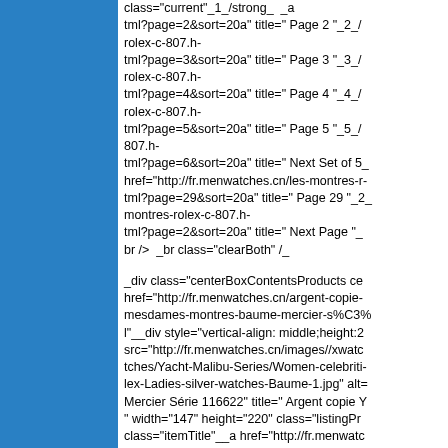[Figure (other): Blue sidebar panel on the left side of the page]
class="current"_1_/strong_&nbsp;&nbsp;_a tml?page=2&sort=20a" title=" Page 2 "_2_/ rolex-c-807.h- tml?page=3&sort=20a" title=" Page 3 "_3_/ rolex-c-807.h- tml?page=4&sort=20a" title=" Page 4 "_4_/ rolex-c-807.h- tml?page=5&sort=20a" title=" Page 5 "_5_/ 807.h- tml?page=6&sort=20a" title=" Next Set of 5_ href="http://fr.menwatches.cn/les-montres-r- tml?page=29&sort=20a" title=" Page 29 "_2_ montres-rolex-c-807.h- tml?page=2&sort=20a" title=" Next Page "_ br />  _br class="clearBoth" /_
_div class="centerBoxContentsProducts ce href="http://fr.menwatches.cn/argent-copie- mesdames-montres-baume-mercier-s%C3% l"__div style="vertical-align: middle;height:2 src="http://fr.menwatches.cn/images//xwatc tches/Yacht-Malibu-Series/Women-celebriti- lex-Ladies-silver-watches-Baume-1.jpg" alt= Mercier Série 116622" title=" Argent copie Y " width="147" height="220" class="listingPr class="itemTitle"__a href="http://fr.menwatc mesdames-montres-baume-mercier-s%C3% l"_Argent copie Yacht Rolex Mesdames mo class="listingDescription"_Informations de I class="normalprice"_&euro;62,358.36 _/sp class="productSpecialPrice"_&euro;192.51 __span class="productPriceDiscount"__br